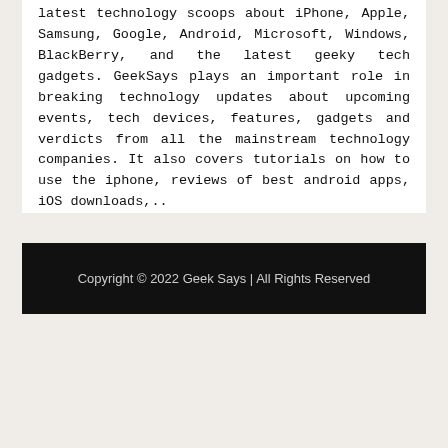latest technology scoops about iPhone, Apple, Samsung, Google, Android, Microsoft, Windows, BlackBerry, and the latest geeky tech gadgets. GeekSays plays an important role in breaking technology updates about upcoming events, tech devices, features, gadgets and verdicts from all the mainstream technology companies. It also covers tutorials on how to use the iphone, reviews of best android apps, iOS downloads,..
Copyright © 2022 Geek Says | All Rights Reserved